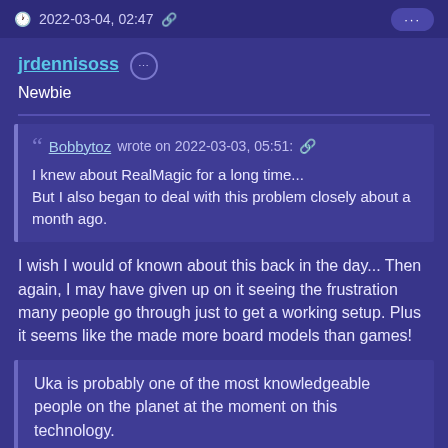2022-03-04, 02:47
jrdennisoss
Newbie
Bobbytoz wrote on 2022-03-03, 05:51:
I knew about RealMagic for a long time...
But I also began to deal with this problem closely about a month ago.
I wish I would of known about this back in the day... Then again, I may have given up on it seeing the frustration many people go through just to get a working setup. Plus it seems like the made more board models than games!
Uka is probably one of the most knowledgeable people on the planet at the moment on this technology.